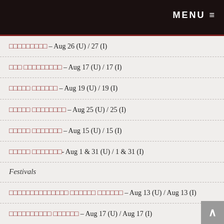MENU
□□□□□□□□□ – Aug 26 (U) / 27 (I)
□□□ □□□□□□□□□ – Aug 17 (U) / 17 (I)
□□□□□ □□□□□□ – Aug 19 (U) / 19 (I)
□□□□□ □□□□□□□□ – Aug 25 (U) / 25 (I)
□□□□□ □□□□□□□ – Aug 15 (U) / 15 (I)
□□□□□ □□□□□□□- Aug 1 & 31 (U) / 1 & 31 (I)
Festivals
□□□□□□□□□□□□□□ □□□□□□ □□□□□□ – Aug 13 (U) / Aug 13 (I)
□□□□□□□□□□ □□□□□□ – Aug 17 (U) / Aug 17 (I)
□□□□□□□□□ □□□□□□□□□□□ – Aug 18 (U) / Aug 19 (I)